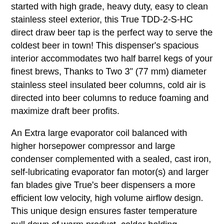started with high grade, heavy duty, easy to clean stainless steel exterior, this True TDD-2-S-HC direct draw beer tap is the perfect way to serve the coldest beer in town! This dispenser's spacious interior accommodates two half barrel kegs of your finest brews, Thanks to Two 3" (77 mm) diameter stainless steel insulated beer columns, cold air is directed into beer columns to reduce foaming and maximize draft beer profits.
An Extra large evaporator coil balanced with higher horsepower compressor and large condenser complemented with a sealed, cast iron, self-lubricating evaporator fan motor(s) and larger fan blades give True's beer dispensers a more efficient low velocity, high volume airflow design. This unique design ensures faster temperature pull down of warm product, colder holding temperatures and faster recovery in high use situations. For quick temperature pull down and years of reliable service.